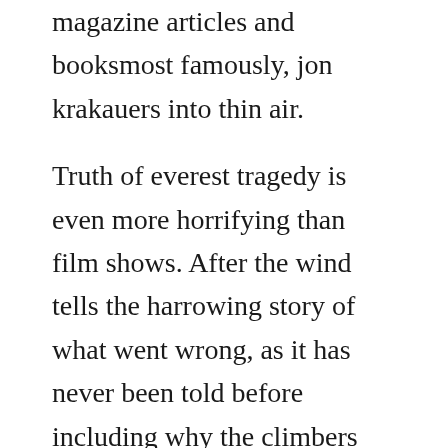magazine articles and booksmost famously, jon krakauers into thin air.
Truth of everest tragedy is even more horrifying than film shows. After the wind tells the harrowing story of what went wrong, as it has never been told before including why the climbers were so desperately out of time as the rogue storm struck. During an attempt to summit everest in 1996 immortalized in jon krakauers book into thin air a powerful storm swept the mountain, obscuring visibility for the 23 climbers on return to. Aug 18, 2015 cnn its the subject of perhaps his bestknown